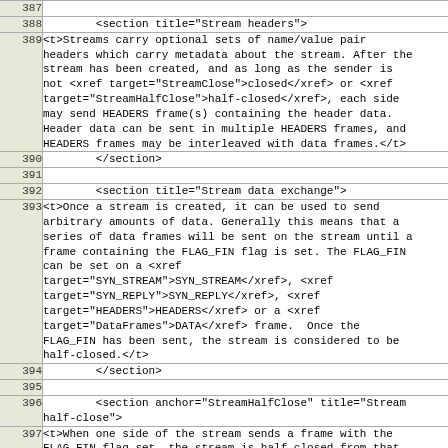| line | code |
| --- | --- |
| 387 |  |
| 388 |         <section title="Stream headers"> |
| 389 | <t>Streams carry optional sets of name/value pair
headers which carry metadata about the stream. After the
stream has been created, and as long as the sender is
not <xref target="StreamClose">closed</xref> or <xref
target="StreamHalfClose">half-closed</xref>, each side
may send HEADERS frame(s) containing the header data.
Header data can be sent in multiple HEADERS frames, and
HEADERS frames may be interleaved with data frames.</t> |
| 390 |         </section> |
| 391 |  |
| 392 |         <section title="Stream data exchange"> |
| 393 | <t>Once a stream is created, it can be used to send
arbitrary amounts of data. Generally this means that a
series of data frames will be sent on the stream until a
frame containing the FLAG_FIN flag is set. The FLAG_FIN
can be set on a <xref
target="SYN_STREAM">SYN_STREAM</xref>, <xref
target="SYN_REPLY">SYN_REPLY</xref>, <xref
target="HEADERS">HEADERS</xref> or a <xref
target="DataFrames">DATA</xref> frame.  Once the
FLAG_FIN has been sent, the stream is considered to be
half-closed.</t> |
| 394 |         </section> |
| 395 |  |
| 396 |         <section anchor="StreamHalfClose" title="Stream
half-close"> |
| 397 | <t>When one side of the stream sends a frame with the
FLAG_FIN flag set, the stream is half-closed from that
endpoint. The sender of the FLAG_FIN MUST NOT send
further frames on that stream. When both sides have
half-closed, the stream is closed.</t> |
| 398 |  |
| 399 | <t>If an endpoint receives a data frame after the stream
is half-closed from the sender (e.g. the endpoint has... |